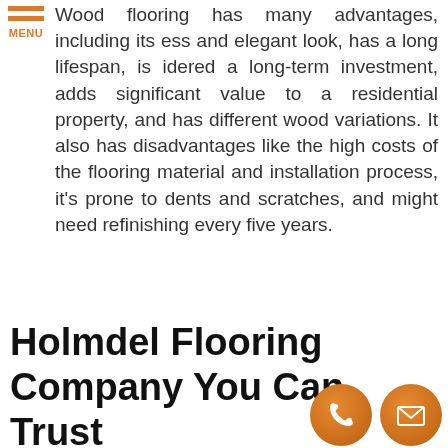[Figure (logo): Orange hamburger menu icon with three horizontal orange bars and 'MENU' text label below in orange]
Wood flooring has many advantages, including its ess and elegant look, has a long lifespan, is idered a long-term investment, adds significant value to a residential property, and has different wood variations. It also has disadvantages like the high costs of the flooring material and installation process, it's prone to dents and scratches, and might need refinishing every five years.
Holmdel Flooring Company You Can Trust
[Figure (infographic): Two circular orange contact icons at bottom right: a phone handset icon and an envelope/email icon]